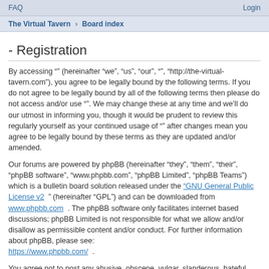FAQ   Login
The Virtual Tavern › Board index
- Registration
By accessing "” (hereinafter “we”, “us”, “our”, “”, “http://the-virtual-tavern.com”), you agree to be legally bound by the following terms. If you do not agree to be legally bound by all of the following terms then please do not access and/or use “”. We may change these at any time and we’ll do our utmost in informing you, though it would be prudent to review this regularly yourself as your continued usage of “” after changes mean you agree to be legally bound by these terms as they are updated and/or amended.
Our forums are powered by phpBB (hereinafter “they”, “them”, “their”, “phpBB software”, “www.phpbb.com”, “phpBB Limited”, “phpBB Teams”) which is a bulletin board solution released under the “GNU General Public License v2” (hereinafter “GPL”) and can be downloaded from www.phpbb.com . The phpBB software only facilitates internet based discussions; phpBB Limited is not responsible for what we allow and/or disallow as permissible content and/or conduct. For further information about phpBB, please see: https://www.phpbb.com/ .
You agree not to post any abusive, obscene, vulgar, slanderous, hateful, threatening, sexually-orientated or any other material that may violate any laws